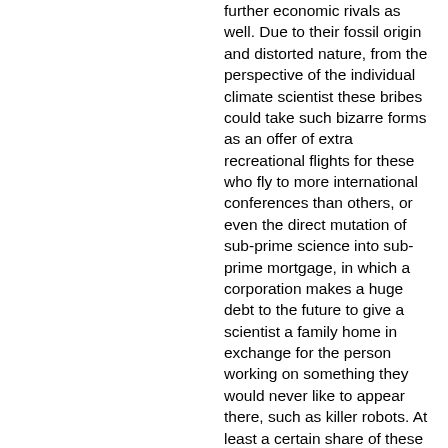further economic rivals as well. Due to their fossil origin and distorted nature, from the perspective of the individual climate scientist these bribes could take such bizarre forms as an offer of extra recreational flights for these who fly to more international conferences than others, or even the direct mutation of sub-prime science into sub-prime mortgage, in which a corporation makes a huge debt to the future to give a scientist a family home in exchange for the person working on something they would never like to appear there, such as killer robots. At least a certain share of these “science fiction careers” will come to run dry at some point, and when they crash their inmates are likely to exhaust significant bursts of denial as if they were praying for funding. The dirty industry might want to hire them to defend its emissions and slow down reductions. Given the period of the length of one generation that is to be calculated for the situation it is therefore the first interest